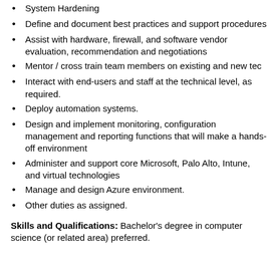System Hardening
Define and document best practices and support procedures
Assist with hardware, firewall, and software vendor evaluation, recommendation and negotiations
Mentor / cross train team members on existing and new tec
Interact with end-users and staff at the technical level, as required.
Deploy automation systems.
Design and implement monitoring, configuration management and reporting functions that will make a hands-off environment
Administer and support core Microsoft, Palo Alto, Intune, and virtual technologies
Manage and design Azure environment.
Other duties as assigned.
Skills and Qualifications:  Bachelor's degree in computer science (or related area) preferred.